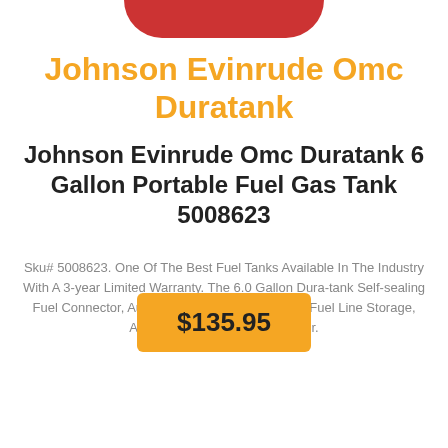[Figure (other): Partial red/orange product image at top of page (cropped fuel tank)]
Johnson Evinrude Omc Duratank
Johnson Evinrude Omc Duratank 6 Gallon Portable Fuel Gas Tank 5008623
Sku# 5008623. One Of The Best Fuel Tanks Available In The Industry With A 3-year Limited Warranty. The 6.0 Gallon Dura-tank Self-sealing Fuel Connector, Auto One-way Venting, Excess Fuel Line Storage, And A Built-in Fuel Cap Retainer.
$135.95